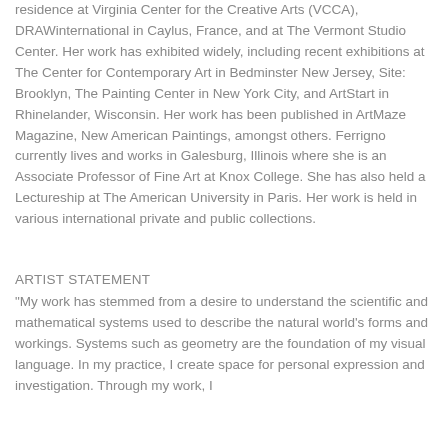residence at Virginia Center for the Creative Arts (VCCA), DRAWinternational in Caylus, France, and at The Vermont Studio Center. Her work has exhibited widely, including recent exhibitions at The Center for Contemporary Art in Bedminster New Jersey, Site: Brooklyn, The Painting Center in New York City, and ArtStart in Rhinelander, Wisconsin. Her work has been published in ArtMaze Magazine, New American Paintings, amongst others. Ferrigno currently lives and works in Galesburg, Illinois where she is an Associate Professor of Fine Art at Knox College. She has also held a Lectureship at The American University in Paris. Her work is held in various international private and public collections.
ARTIST STATEMENT
"My work has stemmed from a desire to understand the scientific and mathematical systems used to describe the natural world's forms and workings. Systems such as geometry are the foundation of my visual language. In my practice, I create space for personal expression and investigation. Through my work, I